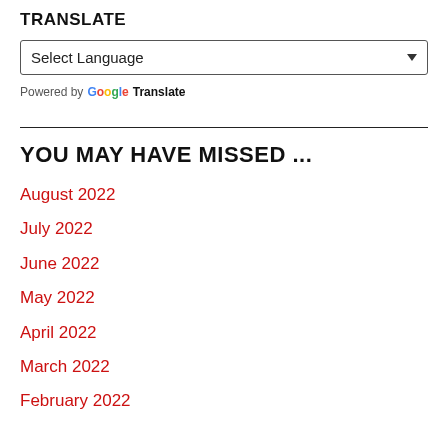TRANSLATE
[Figure (screenshot): A 'Select Language' dropdown selector widget with a downward chevron arrow on the right.]
Powered by Google Translate
YOU MAY HAVE MISSED ...
August 2022
July 2022
June 2022
May 2022
April 2022
March 2022
February 2022